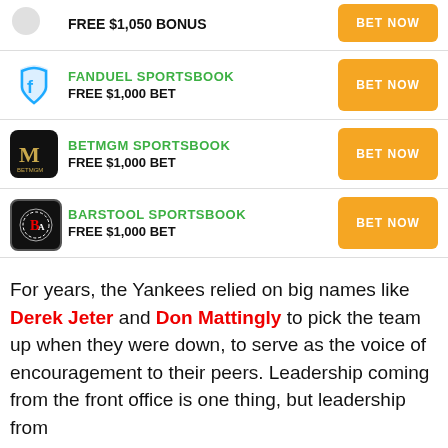FREE $1,050 BONUS — BET NOW
FANDUEL SPORTSBOOK — FREE $1,000 BET — BET NOW
BETMGM SPORTSBOOK — FREE $1,000 BET — BET NOW
BARSTOOL SPORTSBOOK — FREE $1,000 BET — BET NOW
For years, the Yankees relied on big names like Derek Jeter and Don Mattingly to pick the team up when they were down, to serve as the voice of encouragement to their peers. Leadership coming from the front office is one thing, but leadership from